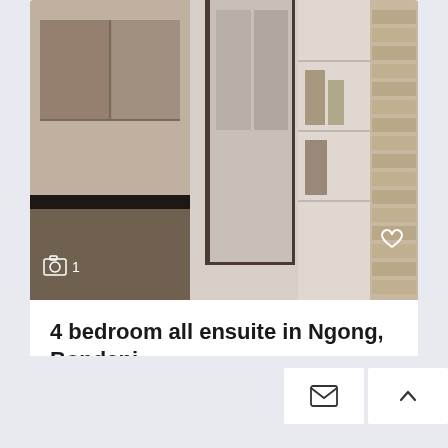[Figure (photo): Interior photo of a house showing kitchen counter area on left, hallway/corridor in center, and shelving unit with stone/brick wall on right. Photo count overlay shows camera icon and '1'. Heart/favorite icon in top right of photo.]
4 bedroom all ensuite in Ngong, Bondeni
Kes 7,500,000
The property is in a gated community of 4 houses in Ngong , bondeni area. The house is a 4 [more]